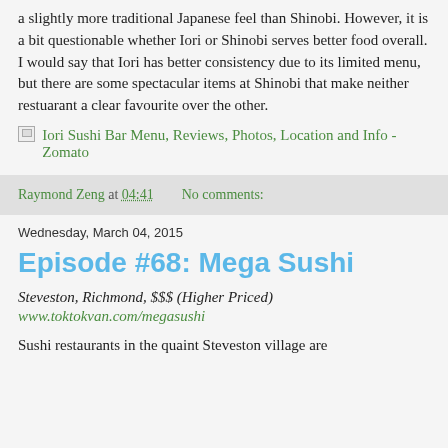a slightly more traditional Japanese feel than Shinobi. However, it is a bit questionable whether Iori or Shinobi serves better food overall. I would say that Iori has better consistency due to its limited menu, but there are some spectacular items at Shinobi that make neither restuarant a clear favourite over the other.
[image] Iori Sushi Bar Menu, Reviews, Photos, Location and Info - Zomato
Raymond Zeng at 04:41    No comments:
Wednesday, March 04, 2015
Episode #68: Mega Sushi
Steveston, Richmond, $$$ (Higher Priced)
www.toktokvan.com/megasushi
Sushi restaurants in the quaint Steveston village are